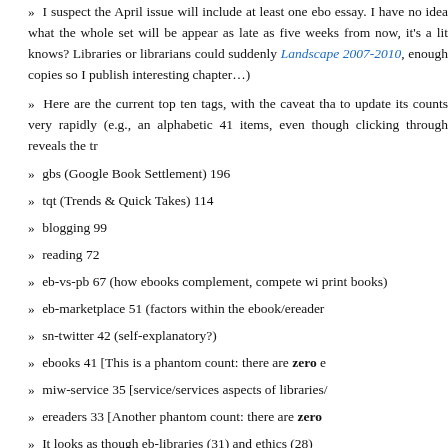I suspect the April issue will include at least one ebo essay. I have no idea what the whole set will be appear as late as five weeks from now, it's a lit knows? Libraries or librarians could suddenly Landscape 2007-2010, enough copies so I publish interesting chapter…)
Here are the current top ten tags, with the caveat tha to update its counts very rapidly (e.g., an alphabetic 41 items, even though clicking through reveals the tr
gbs (Google Book Settlement) 196
tqt (Trends & Quick Takes) 114
blogging 99
reading 72
eb-vs-pb 67 (how ebooks complement, compete wi print books)
eb-marketplace 51 (factors within the ebook/ereader
sn-twitter 42 (self-explanatory?)
ebooks 41 [This is a phantom count: there are zero e
miw-service 35 [service/services aspects of libraries/
ereaders 33 [Another phantom count: there are zero
It looks as though eb-libraries (31) and ethics (28)